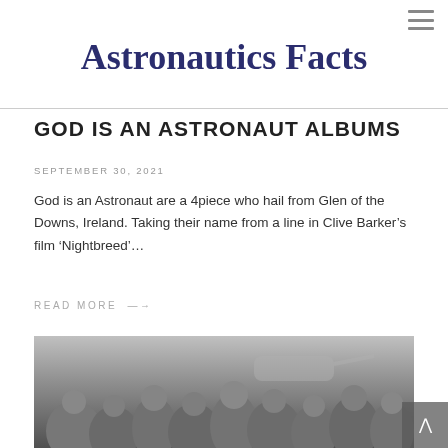Astronautics Facts
GOD IS AN ASTRONAUT ALBUMS
SEPTEMBER 30, 2021
God is an Astronaut are a 4piece who hail from Glen of the Downs, Ireland. Taking their name from a line in Clive Barker’s film ‘Nightbreed’…
READ MORE ⟶
[Figure (photo): Black and white photograph of a group of people, appears to be a crowd scene with aircraft visible in background]